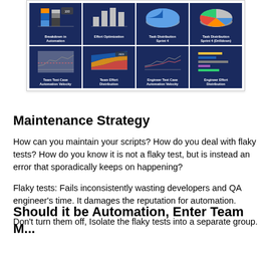[Figure (infographic): A 4x2 dashboard grid of small chart thumbnails with dark blue backgrounds and white labels. Row 1: Breakdown in Automation (stacked bar), Effort Optimization (bar chart), Task Distribution Sprint 4 (pie chart), Task Distribution Sprint 4 (Drilldown) (pie chart). Row 2: Team Test Case Automation Velocity (line chart), Team Effort Distribution (area chart), Engineer Test Case Automation Velocity (line chart), Engineer Effort Distribution (horizontal bar chart).]
Maintenance Strategy
How can you maintain your scripts? How do you deal with flaky tests? How do you know it is not a flaky test, but is instead an error that sporadically keeps on happening?
Flaky tests: Fails inconsistently wasting developers and QA engineer's time. It damages the reputation for automation.
Don't turn them off, Isolate the flaky tests into a separate group.
Should it be Automation, Enter Team M...